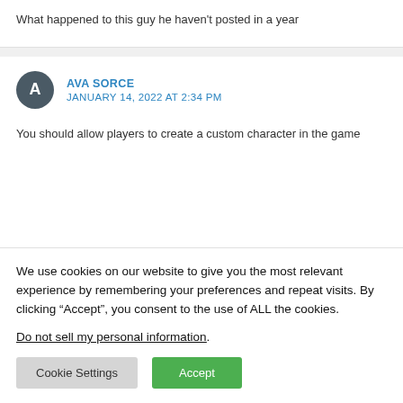What happened to this guy he haven't posted in a year
AVA SORCE
JANUARY 14, 2022 AT 2:34 PM
You should allow players to create a custom character in the game
We use cookies on our website to give you the most relevant experience by remembering your preferences and repeat visits. By clicking “Accept”, you consent to the use of ALL the cookies.
Do not sell my personal information.